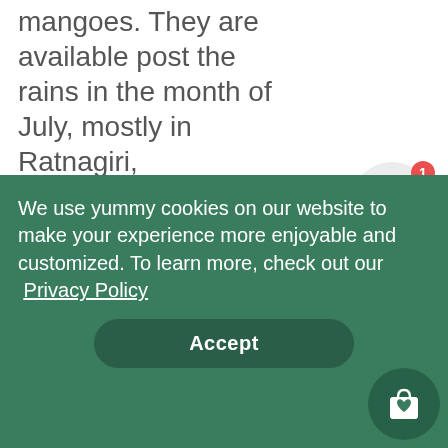mangoes. They are available post the rains in the month of July, mostly in Ratnagiri, Maharashtra. Alphonso mangoes are bright sunshiny yellow in colour and have a detectable taste and squishiness. They are the king of
[Figure (illustration): A circular light-grey button with a gift box icon (black bow and box) and a red badge showing the number 1]
We use yummy cookies on our website to make your experience more enjoyable and customized. To learn more, check out our Privacy Policy
Accept
[Figure (illustration): A dark green circular button with a white shopping bag with a heart icon]
along with other